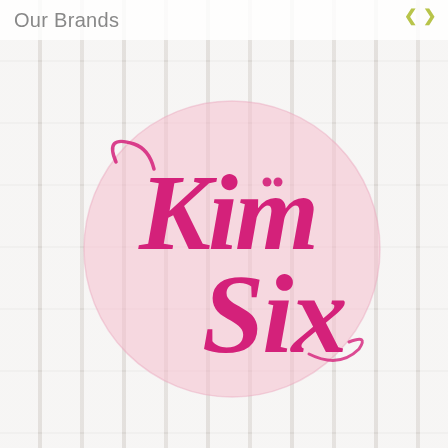Our Brands
[Figure (logo): Kim Six brand logo: pink cursive script text reading 'Kim Six' overlaid on a large light pink circle, set against a white wood plank background]